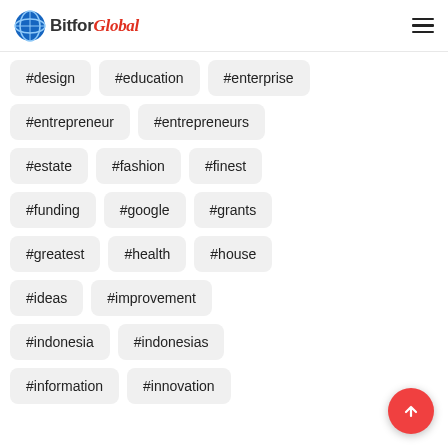Bitfor Global
#design
#education
#enterprise
#entrepreneur
#entrepreneurs
#estate
#fashion
#finest
#funding
#google
#grants
#greatest
#health
#house
#ideas
#improvement
#indonesia
#indonesias
#information
#innovation